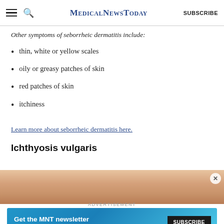MedicalNewsToday | SUBSCRIBE
Other symptoms of seborrheic dermatitis include:
thin, white or yellow scales
oily or greasy patches of skin
red patches of skin
itchiness
Learn more about seborrheic dermatitis here.
Ichthyosis vulgaris
[Figure (photo): Close-up photo of skin showing texture, partially visible, with a close button overlay in the corner]
ADVERTISEMENT
Get the MNT newsletter. Subscribe to receive our top news articles. SUBSCRIBE